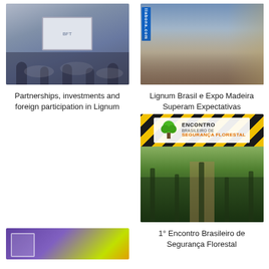[Figure (photo): People sitting around tables in a conference room with a presentation screen]
Partnerships, investments and foreign participation in Lignum
[Figure (photo): Crowd of people at an exhibition/expo event with signage including llabona.com]
Lignum Brasil e Expo Madeira Superam Expectativas
[Figure (photo): Encontro Brasileiro de Segurança Florestal logo and forest road image]
1° Encontro Brasileiro de Segurança Florestal
[Figure (photo): Partial view of a purple/yellow illustrated image at the bottom left]